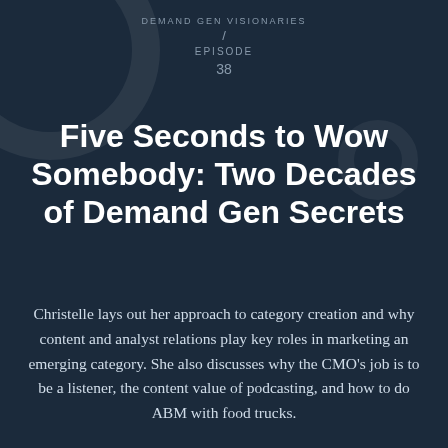DEMAND GEN VISIONARIES / EPISODE 38
Five Seconds to Wow Somebody: Two Decades of Demand Gen Secrets
Christelle lays out her approach to category creation and why content and analyst relations play key roles in marketing an emerging category. She also discusses why the CMO’s job is to be a listener, the content value of podcasting, and how to do ABM with food trucks.